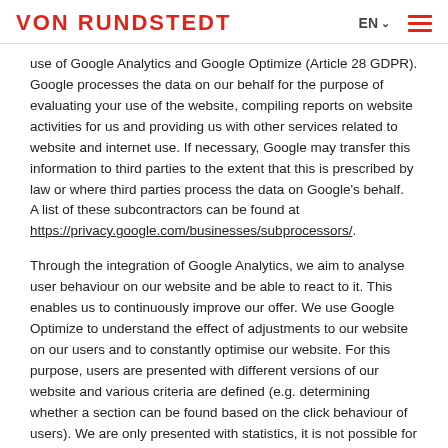VON RUNDSTEDT   EN  ☰
use of Google Analytics and Google Optimize (Article 28 GDPR). Google processes the data on our behalf for the purpose of evaluating your use of the website, compiling reports on website activities for us and providing us with other services related to website and internet use. If necessary, Google may transfer this information to third parties to the extent that this is prescribed by law or where third parties process the data on Google's behalf.  A list of these subcontractors can be found at https://privacy.google.com/businesses/subprocessors/.
Through the integration of Google Analytics, we aim to analyse user behaviour on our website and be able to react to it. This enables us to continuously improve our offer. We use Google Optimize to understand the effect of adjustments to our website on our users and to constantly optimise our website. For this purpose, users are presented with different versions of our website and various criteria are defined (e.g. determining whether a section can be found based on the click behaviour of users). We are only presented with statistics, it is not possible for us to draw conclusions about a single person based on these statistics.
The processing of your personal data takes place exclusively on the basis of your